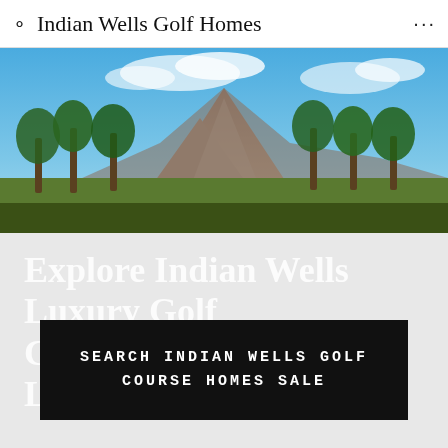Indian Wells Golf Homes
[Figure (photo): Landscape photo of Indian Wells showing palm trees in the foreground and a barren mountain peak under a blue sky with scattered clouds]
Explore Indian Wells Luxury Golf Communities & Lifestyles!
SEARCH INDIAN WELLS GOLF COURSE HOMES SALE